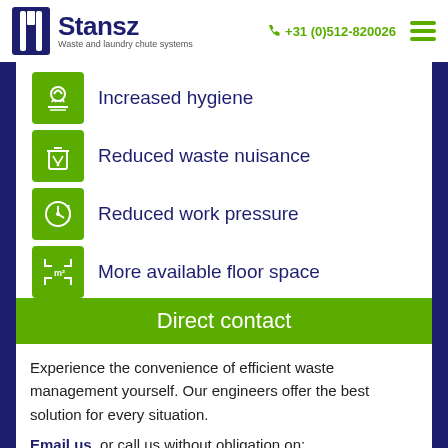Stansz — Waste and laundry chute systems | +31 (0)512-820026
Increased hygiene
Reduced waste nuisance
Reduced work pressure
More available floor space
Direct contact
Experience the convenience of efficient waste management yourself. Our engineers offer the best solution for every situation.
Email us, or call us without obligation on:
+31 (0)512-820026